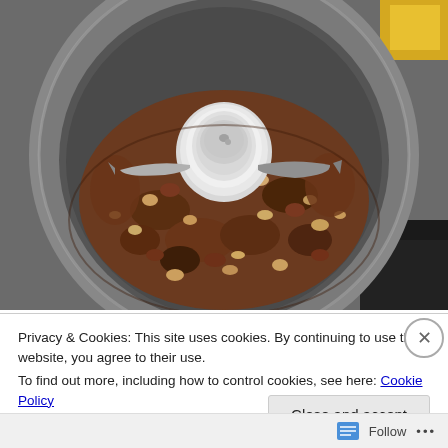[Figure (photo): Overhead view of a food processor bowl containing chopped, crumbled dark and light colored food mixture (appears to be ground nuts or cookie crumbs) with a white plastic center hub and metal blade visible.]
Privacy & Cookies: This site uses cookies. By continuing to use this website, you agree to their use.
To find out more, including how to control cookies, see here: Cookie Policy
Close and accept
Follow